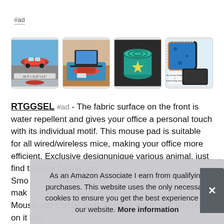#ad
[Figure (photo): Four product images of a large mouse pad/desk mat: (1) red sports car themed mousepad with size label 31.5" x 11.8" x 0.1", (2) the mousepad in use on a desk with a laptop and red car image, (3) a rolled-up green/teal mousepad, (4) blue mousepad showing anti-fray edge stitching and non-slip rubber base diagram]
RTGGSEL #ad - The fabric surface on the front is water repellent and gives your office a personal touch with its individual motif. This mouse pad is suitable for all wired/wireless mice, making your office more efficient. Exclusive designunique various animal, just find the one theme you... Smo... mak... Mouse mat can be easy to clean when spill anything on it like
As an Amazon Associate I earn from qualifying purchases. This website uses the only necessary cookies to ensure you get the best experience on our website. More information